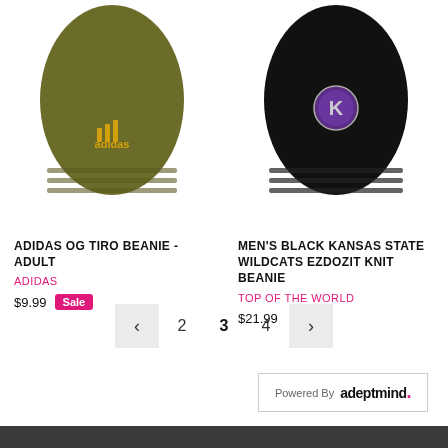[Figure (photo): Olive/army green Adidas knit beanie with yellow Adidas logo, cropped at top]
[Figure (photo): Black knit beanie with purple Kansas State Wildcats logo, cropped at top]
ADIDAS OG TIRO BEANIE - ADULT
ADIDAS
$9.99 Sale
MEN'S BLACK KANSAS STATE WILDCATS EZDOZIT KNIT BEANIE
TOP OF THE WORLD
$21.99
< 2 3 4 >
Powered By adeptmind.